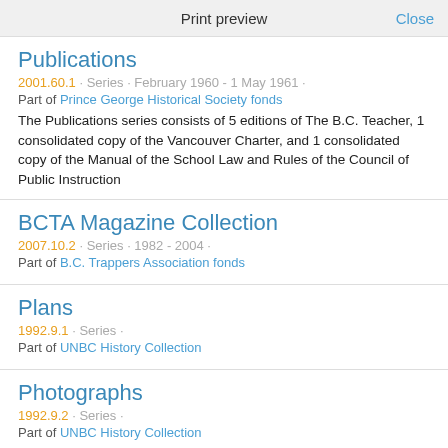Print preview   Close
Publications
2001.60.1 · Series · February 1960 - 1 May 1961 ·
Part of Prince George Historical Society fonds
The Publications series consists of 5 editions of The B.C. Teacher, 1 consolidated copy of the Vancouver Charter, and 1 consolidated copy of the Manual of the School Law and Rules of the Council of Public Instruction
BCTA Magazine Collection
2007.10.2 · Series · 1982 - 2004 ·
Part of B.C. Trappers Association fonds
Plans
1992.9.1 · Series ·
Part of UNBC History Collection
Photographs
1992.9.2 · Series ·
Part of UNBC History Collection